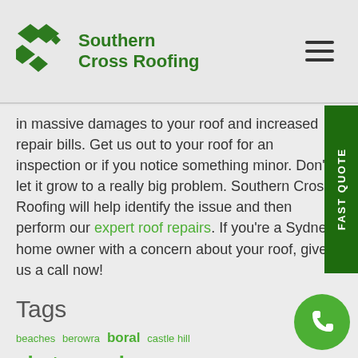[Figure (logo): Southern Cross Roofing logo with green diamond shapes and green bold text reading 'Southern Cross Roofing']
in massive damages to your roof and increased repair bills. Get us out to your roof for an inspection or if you notice something minor. Don't let it grow to a really big problem. Southern Cross Roofing will help identify the issue and then perform our expert roof repairs. If you're a Sydney home owner with a concern about your roof, give us a call now!
Tags
beaches berowra boral castle hill chatswood church colorbond free quotes gutter gutters leafs leaf screen leaking roof leaks